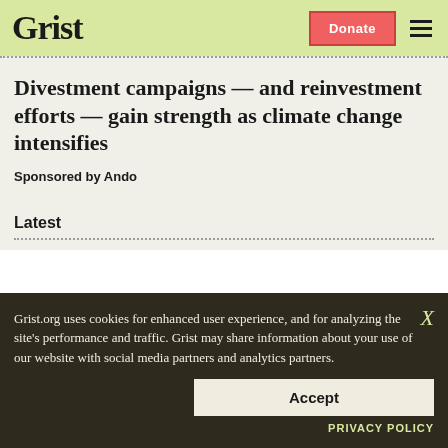Grist
Divestment campaigns — and reinvestment efforts — gain strength as climate change intensifies
Sponsored by Ando
Latest
Grist.org uses cookies for enhanced user experience, and for analyzing the site's performance and traffic. Grist may share information about your use of our website with social media partners and analytics partners.